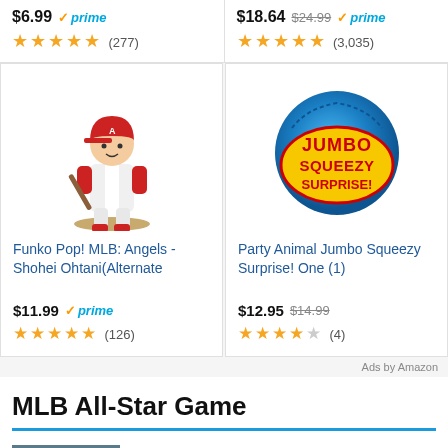$6.99 prime (277)
$18.64 $24.99 prime (3,035)
[Figure (photo): Funko Pop! MLB Angels Shohei Ohtani vinyl figure in baseball batting pose with red helmet]
Funko Pop! MLB: Angels - Shohei Ohtani(Alternate
$11.99 prime ★★★★★ (126)
[Figure (photo): Party Animal Jumbo Squeezy Surprise ball toy with yellow and blue packaging]
Party Animal Jumbo Squeezy Surprise! One (1)
$12.95 $14.99 ★★★★ (4)
Ads by Amazon
MLB All-Star Game
[Figure (photo): Baseball player photo thumbnail]
This Shohei Ohtani HR Derby stat will make MLB fans gasp